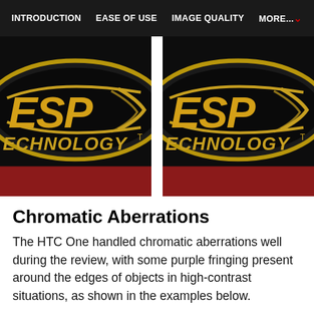INTRODUCTION  EASE OF USE  IMAGE QUALITY  MORE...
[Figure (photo): Two side-by-side cropped photos of an ESP Technology logo on a dark background with red at the bottom, separated by a white vertical divider]
Chromatic Aberrations
The HTC One handled chromatic aberrations well during the review, with some purple fringing present around the edges of objects in high-contrast situations, as shown in the examples below.